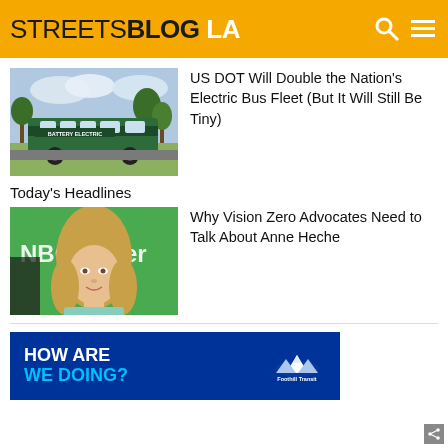STREETSBLOG LA
[Figure (photo): A green electric bus with text BATTERY ELECTRIC parked outdoors with trees in background]
US DOT Will Double the Nation's Electric Bus Fleet (But It Will Still Be Tiny)
Today's Headlines
[Figure (photo): Woman with blonde hair in front of NBCUniversal green background]
Why Vision Zero Advocates Need to Talk About Anne Heche
[Figure (illustration): Foothill Transit advertisement banner with text HOW ARE WE DOING? and Foothill Transit logo on blue background]